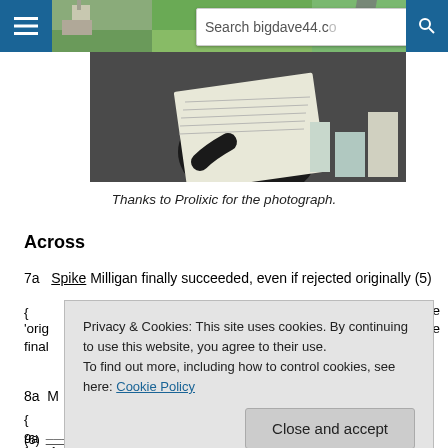Search bigdave44.c...
[Figure (photo): Photograph of a person reading a large sheet or book outdoors at a table, with books/bottles in background]
Thanks to Prolixic for the photograph.
Across
7a   Spike Milligan finally succeeded, even if rejected originally (5)
{ ... the 'orig... the final...
8a  M...
{
9a  ... ...axes (6)
{     }   The backing or last letter of MilibanD followed by a
[Figure (screenshot): Cookie consent popup overlay: Privacy & Cookies notice with Close and accept button]